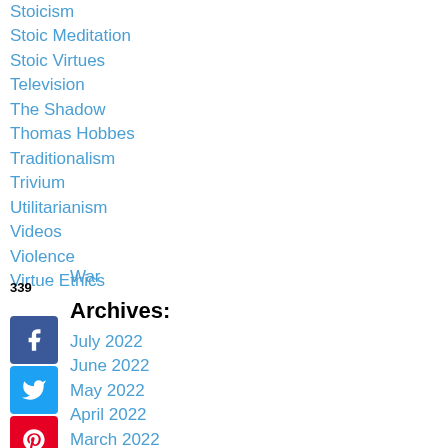Stoicism
Stoic Meditation
Stoic Virtues
Television
The Shadow
Thomas Hobbes
Traditionalism
Trivium
Utilitarianism
Videos
Violence
Virtue Ethics
War
Archives:
July 2022
June 2022
May 2022
April 2022
March 2022
February 2022